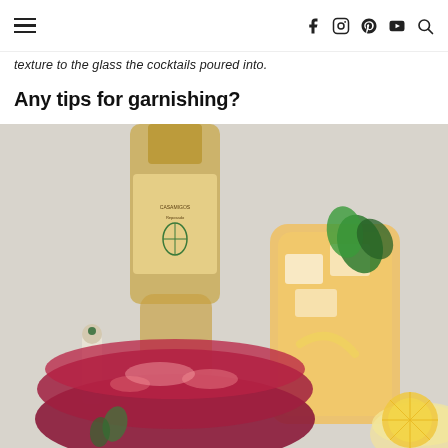Navigation header with hamburger menu and social icons (Facebook, Instagram, Pinterest, YouTube, Search)
texture to the glass the cocktails poured into.
Any tips for garnishing?
[Figure (photo): Overhead photo of cocktails next to a bottle of Casamigos Reposado tequila. One tall glass with an orange/yellow drink garnished with mint and a lemon twist, a wide dark berry/red cocktail, and a partial view of a third cocktail with a citrus slice. A small dropper bottle is also visible.]